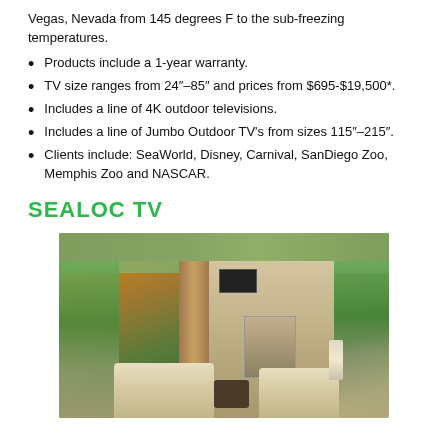Vegas, Nevada from 145 degrees F to the sub-freezing temperatures.
Products include a 1-year warranty.
TV size ranges from 24"–85" and prices from $695-$19,500*.
Includes a line of 4K outdoor televisions.
Includes a line of Jumbo Outdoor TV's from sizes 115"–215".
Clients include: SeaWorld, Disney, Carnival, SanDiego Zoo, Memphis Zoo and NASCAR.
SEALOC TV
[Figure (photo): Outdoor patio area with a TV mounted above a stone fireplace, wood ceiling, open sides revealing a green garden, and outdoor furniture including sofas and a coffee table.]